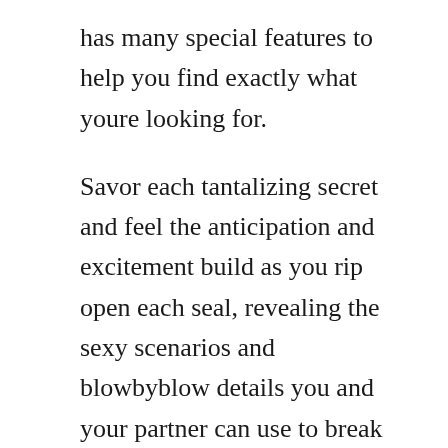has many special features to help you find exactly what youre looking for.
Savor each tantalizing secret and feel the anticipation and excitement build as you rip open each seal, revealing the sexy scenarios and blowbyblow details you and your partner can use to break out of your sexual habits and enjoy new levels of passion and pleasure. The most exciting thing a lover has ever done to them in bed. Scaricare o leggere online critical role libri gratis pdfepub matthew. Ancient mysteries and modern revelations explores